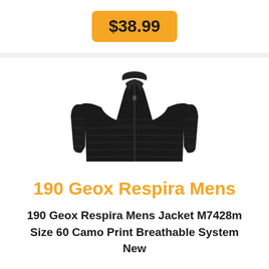$38.99
[Figure (photo): Black quilted puffer jacket, Geox Respira Mens product photo on white background]
190 Geox Respira Mens
190 Geox Respira Mens Jacket M7428m Size 60 Camo Print Breathable System New